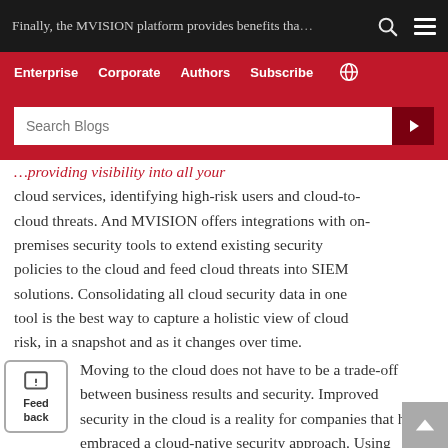Finally, the MVISION platform provides benefits tha…
Enterprise  Corporate  Authors  Subscribe
Search Blogs
cloud services, identifying high-risk users and cloud-to-cloud threats. And MVISION offers integrations with on-premises security tools to extend existing security policies to the cloud and feed cloud threats into SIEM solutions. Consolidating all cloud security data in one tool is the best way to capture a holistic view of cloud risk, in a snapshot and as it changes over time.
Moving to the cloud does not have to be a trade-off between business results and security. Improved security in the cloud is a reality for companies that have embraced a cloud-native security approach. Using MVISION Cloud for Enterprises, D&B…